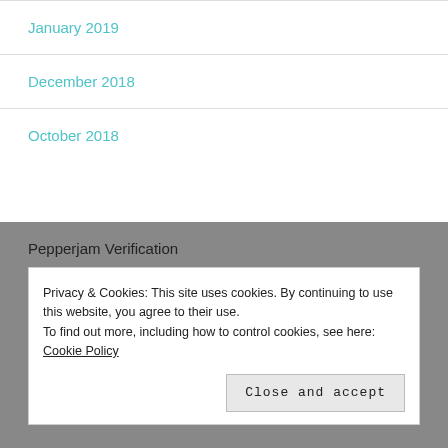January 2019
December 2018
October 2018
Pepperjam Verification
Privacy & Cookies: This site uses cookies. By continuing to use this website, you agree to their use.
To find out more, including how to control cookies, see here: Cookie Policy
Close and accept